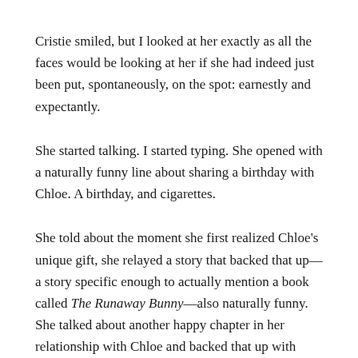Cristie smiled, but I looked at her exactly as all the faces would be looking at her if she had indeed just been put, spontaneously, on the spot: earnestly and expectantly.
She started talking. I started typing. She opened with a naturally funny line about sharing a birthday with Chloe. A birthday, and cigarettes.
She told about the moment she first realized Chloe's unique gift, she relayed a story that backed that up—a story specific enough to actually mention a book called The Runaway Bunny—also naturally funny. She talked about another happy chapter in her relationship with Chloe and backed that up with another story.